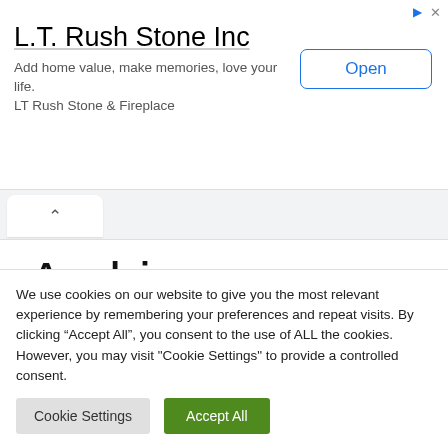[Figure (screenshot): Advertisement banner for L.T. Rush Stone Inc with title, tagline, and Open button]
Archives
August 2022
We use cookies on our website to give you the most relevant experience by remembering your preferences and repeat visits. By clicking “Accept All”, you consent to the use of ALL the cookies. However, you may visit "Cookie Settings" to provide a controlled consent.